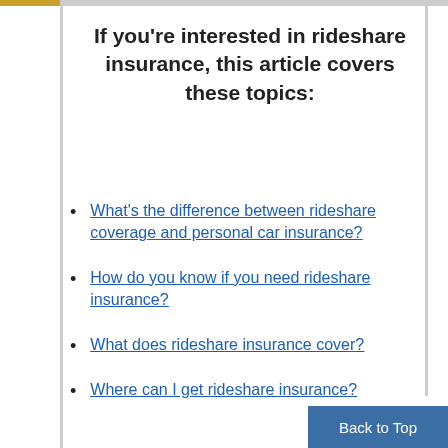If you're interested in rideshare insurance, this article covers these topics:
What's the difference between rideshare coverage and personal car insurance?
How do you know if you need rideshare insurance?
What does rideshare insurance cover?
Where can I get rideshare insurance?
Back to Top